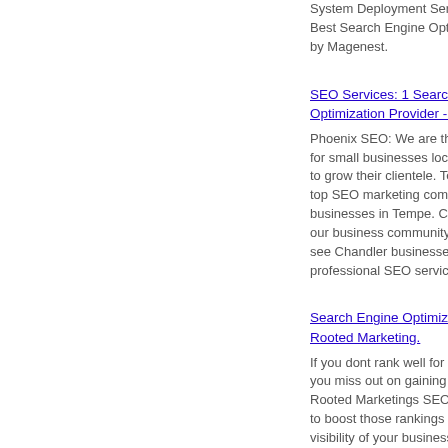System Deployment Service Best Search Engine Optimization by Magenest.
SEO Services: 1 Search Optimization Provider - M
Phoenix SEO: We are the ma for small businesses located to grow their clientele. Tempe top SEO marketing company businesses in Tempe. Chand our business community in A see Chandler businesses gro professional SEO services.
Search Engine Optimization S Rooted Marketing.
If you dont rank well for your you miss out on gaining a ne Rooted Marketings SEO serv to boost those rankings and i visibility of your business. Un Marketing. While you might s location, location, location to your business success, in so ranking, ranking, ranking tha This is especially important f customers. If they cant find y online, they will never know v offer and how you can help th marketing can change this. S optimization involves using th structure of your website to m to search engines.